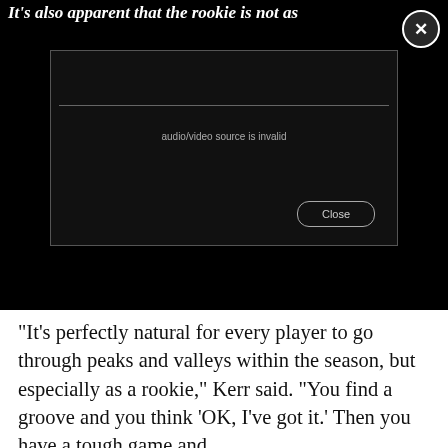[Figure (screenshot): Video player overlay on a dark background showing an error message 'audio/video source is invalid' with a Close button and an X close icon in the top right corner.]
“It’s perfectly natural for every player to go through peaks and valleys within the season, but especially as a rookie,” Kerr said. “You find a groove and you think ‘OK, I’ve got it.’ Then you have a tough game and